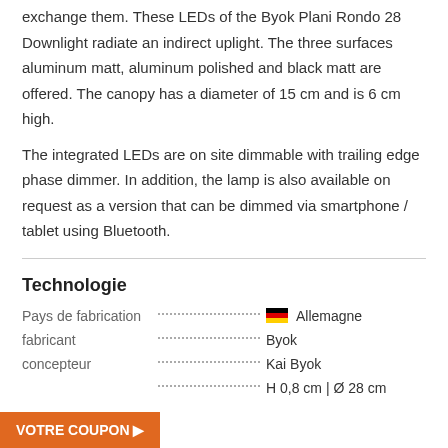exchange them. These LEDs of the Byok Plani Rondo 28 Downlight radiate an indirect uplight. The three surfaces aluminum matt, aluminum polished and black matt are offered. The canopy has a diameter of 15 cm and is 6 cm high.
The integrated LEDs are on site dimmable with trailing edge phase dimmer. In addition, the lamp is also available on request as a version that can be dimmed via smartphone / tablet using Bluetooth.
Technologie
| Label | Value |
| --- | --- |
| Pays de fabrication | Allemagne |
| fabricant | Byok |
| concepteur | Kai Byok |
|  | H 0,8 cm | Ø 28 cm |